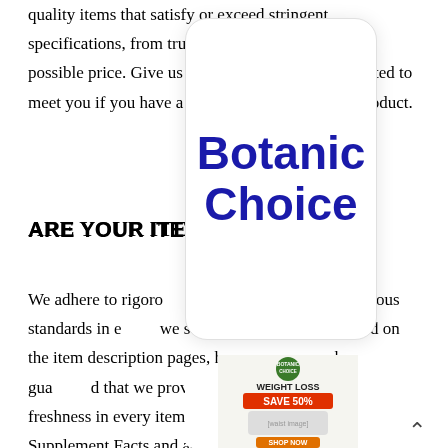quality items that satisfy or exceed stringent specifications, from trusted providers, at the finest possible price. Give us a call and we will be delighted to meet you if you have a concern about a specific product.
[Figure (logo): Botanic Choice popup card logo overlay with rounded rectangle card, large bold blue text 'Botanic' on first line and 'Choice' on second line.]
ARE YOUR ITEMS NATURAL?
We adhere to rigorous quality control standards and rigorous standards in everything we sell. Organic items are noted on the item description pages, however you can be guaranteed that we provide exceptional quality and freshness in every item that we offer. To see the Supplement Facts and active ingredients for a specific product, click on the "View
[Figure (infographic): Botanic Choice weight loss advertisement banner: green circle logo top, 'WEIGHT LOSS' text, 'SAVE 50%' in orange/red, image of slim waist with measuring tape, 'SHOP NOW' button.]
[Figure (logo): Bottom popup overlay with 'Enter Botanic Choice' text in large bold blue letters.]